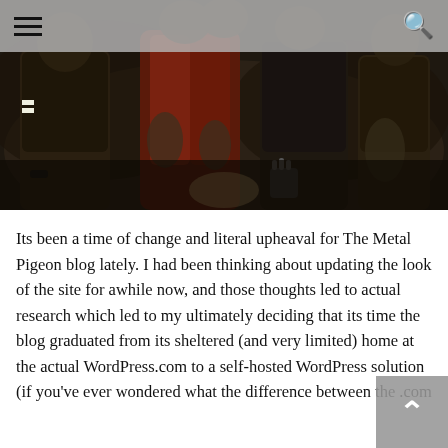[Figure (photo): A dark promotional photo of a metal band, showing members in leather jackets and dark clothing, with tattoos visible, posed against a dark background. Navigation bar overlaid at top with hamburger menu icon on left and search icon on right.]
Its been a time of change and literal upheaval for The Metal Pigeon blog lately. I had been thinking about updating the look of the site for awhile now, and those thoughts led to actual research which led to my ultimately deciding that its time the blog graduated from its sheltered (and very limited) home at the actual WordPress.com to a self-hosted WordPress solution (if you've ever wondered what the difference between the .com